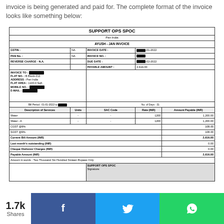invoice is being generated and paid for. The complete format of the invoice looks like something below:
[Figure (other): Scanned invoice document from SUPPORT OPS SPOC, Pan India, for AYUSH - JAN INVOICE. Contains billing details including GSTIN: NA, PAN No.: NA, Reverse Charge: N.A., Invoice Date: [redacted]-01-2022, Invoice No.: [redacted], Due Date: [redacted]-02-2022, Payable Amount: 2,616.00. Invoice To: [redacted], Flat No.: B Block-212, Address: Pan India, Flat Area: 1100.0 Sqft, Mobile No.: [redacted], E-Mail: [redacted]. Bill Period: 01-01-2022 to [redacted], No. of Days: 31. Services: Water (-,-,1200,1,200.00), Water-A (-,-,1200,1,200.00), CGST@9%: 108.00, SGST@9%: 108.00, Current Bill Amount (INR): 2,616.00, Last month outstanding (INR): 0.00, Cheque Dishonor Charges (INR): 0.00, Payable Amount (INR): 2,616.00. Amount in words: Two Thousand Six Hundred Sixteen Rupees Only. Signature block: SUPPORT OPS SPOC.]
1.7k Shares